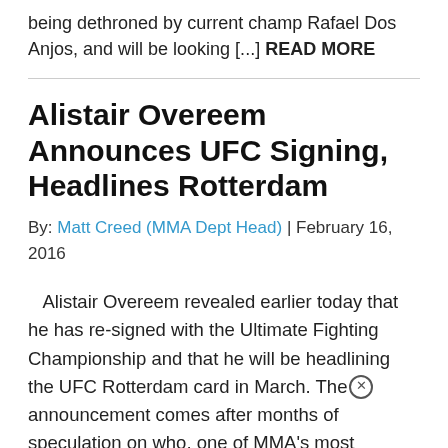being dethroned by current champ Rafael Dos Anjos, and will be looking [...] READ MORE
Alistair Overeem Announces UFC Signing, Headlines Rotterdam
By: Matt Creed (MMA Dept Head) | February 16, 2016
Alistair Overeem revealed earlier today that he has re-signed with the Ultimate Fighting Championship and that he will be headlining the UFC Rotterdam card in March. The announcement comes after months of speculation on who, one of MMA's most prevalent heavyweight names, would sign